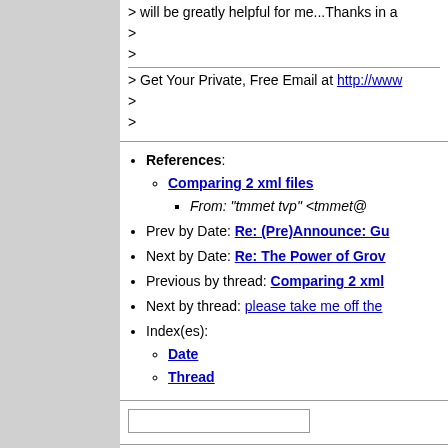> will be greatly helpful for me...Thanks in a
>
>
> Get Your Private, Free Email at http://www
>
>
References:
Comparing 2 xml files
From: "tmmet tvp" <tmmet@
Prev by Date: Re: (Pre)Announce: Gu
Next by Date: Re: The Power of Grov
Previous by thread: Comparing 2 xml
Next by thread: please take me off the
Index(es):
Date
Thread